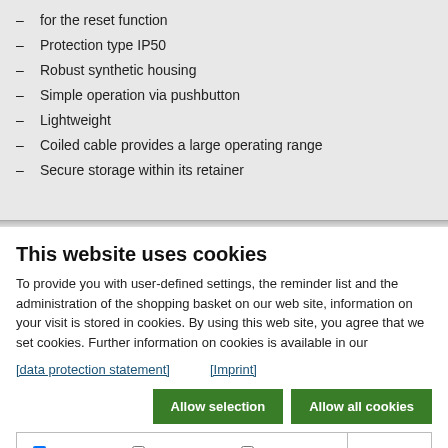for the reset function
Protection type IP50
Robust synthetic housing
Simple operation via pushbutton
Lightweight
Coiled cable provides a large operating range
Secure storage within its retainer
This website uses cookies
To provide you with user-defined settings, the reminder list and the administration of the shopping basket on our web site, information on your visit is stored in cookies. By using this web site, you agree that we set cookies. Further information on cookies is available in our
[data protection statement]   [Imprint]
Allow selection   Allow all cookies
Necessary   Preferences   Statistics   Marketing   Show details